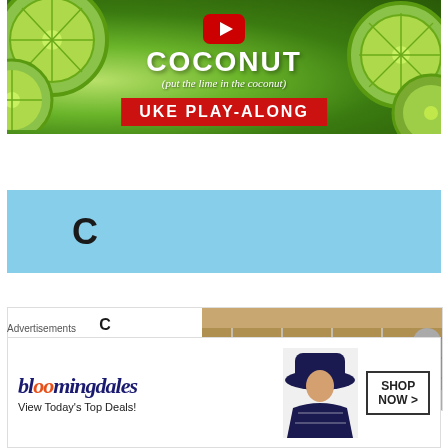[Figure (screenshot): YouTube thumbnail for 'Coconut (put the lime in the coconut) Uke Play-Along' video, showing lime slices background with YouTube play button, text 'COCONUT', subtitle '(put the lime in the coconut)', and red banner 'UKE PLAY-ALONG']
[Figure (screenshot): Light blue section showing chord name 'C' in large bold text]
[Figure (other): Chord diagram section showing 'C' chord grid on left and photo of guitar fretboard on right]
Advertisements
[Figure (other): Bloomingdale's advertisement banner with logo, 'View Today's Top Deals!' tagline and 'SHOP NOW >' button, with person wearing hat]